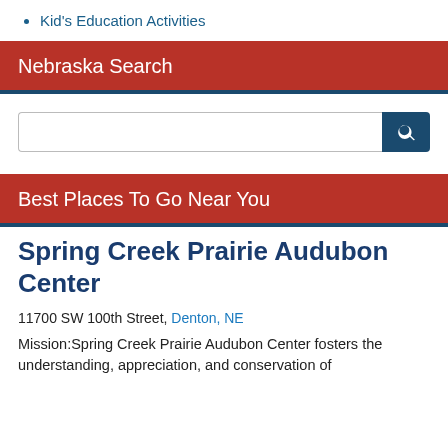Kid's Education Activities
Nebraska Search
[Figure (other): Search input box with search button]
Best Places To Go Near You
Spring Creek Prairie Audubon Center
11700 SW 100th Street, Denton, NE
Mission:Spring Creek Prairie Audubon Center fosters the understanding, appreciation, and conservation of